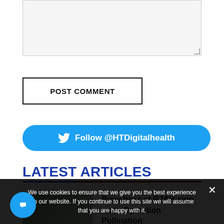[Figure (screenshot): Empty textarea input box with resize handle]
POST COMMENT
[Figure (other): Twitter follow button: Follow @HTDigitalhealth]
LATEST ARTICLES
[Figure (photo): Group of people outdoors, trees in background]
Busy bees at RJAH sign up to Operation Pollination
We use cookies to ensure that we give you the best experience on our website. If you continue to use this site we will assume that you are happy with it.